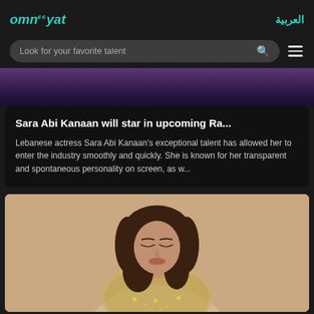omnєєyat | العربية
Look for your favorite talent
[Figure (photo): Purple/dark background image partially visible at top]
Sara Abi Kanaan will star in upcoming Ra...
Lebanese actress Sara Abi Kanaan's exceptional talent has allowed her to enter the industry smoothly and quickly. She is known for her transparent and spontaneous personality on screen, as w...
[Figure (photo): Photo of a woman with dark brown wavy hair looking downward, wearing a sequined outfit, against a beige background]